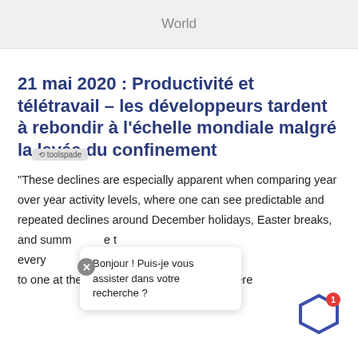World
21 mai 2020 : Productivité et télétravail – les développeurs tardent à rebondir à l'échelle mondiale malgré la levée du confinement
"These declines are especially apparent when comparing year over year activity levels, where one can see predictable and repeated declines around December holidays, Easter breaks, and summ... e t... every... at t... ce... to one at the kitchen table, the rebounds were